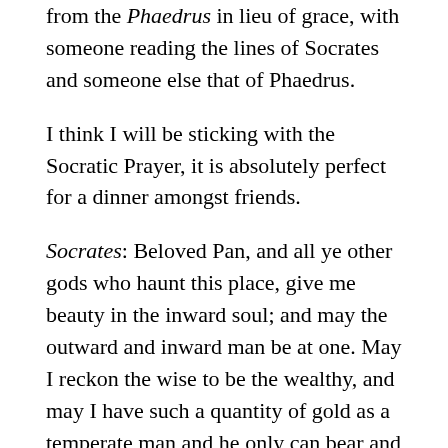from the Phaedrus in lieu of grace, with someone reading the lines of Socrates and someone else that of Phaedrus.
I think I will be sticking with the Socratic Prayer, it is absolutely perfect for a dinner amongst friends.
Socrates: Beloved Pan, and all ye other gods who haunt this place, give me beauty in the inward soul; and may the outward and inward man be at one. May I reckon the wise to be the wealthy, and may I have such a quantity of gold as a temperate man and he only can bear and carry. Anything more? The prayer, I...